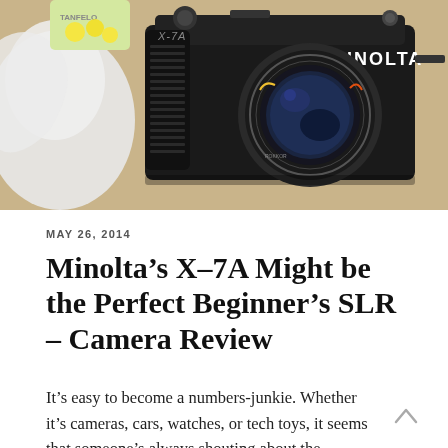[Figure (photo): A black Minolta X-7A SLR film camera with a lens, placed on a wooden surface next to a white plastic bag and a container with lemons in background]
MAY 26, 2014
Minolta's X–7A Might be the Perfect Beginner's SLR – Camera Review
It's easy to become a numbers-junkie. Whether it's cameras, cars, watches, or tech toys, it seems that someone's always shouting about the superiority of one